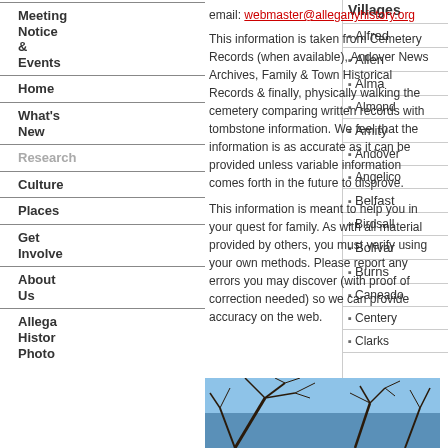Villages
Meeting Notice & Events
email: webmaster@alleganyhistory.org
Home
What's New
Research
Culture
Places
Get Involved
About Us
Allegany History Photos
This information is taken from Cemetery Records (when available), Andover News Archives, Family & Town Historical Records  & finally,  physically walking the cemetery comparing written records with tombstone information.  We feel that the information is as accurate as it can be provided unless variable information comes forth in the future to disprove.

This information is meant to help you in your quest for family.  As with all material provided by others,  you must verify using your own methods.  Please report any errors you may discover (with proof of correction needed)  so we can provide accuracy on the web.
Alfred
Allen
Alma
Almond
Amity
Andover
Angelica
Belfast
Birdsall
Bolivar
Burns
Caneadea
Centerville
Clarksville
[Figure (photo): Photo of bare tree branches against a blue sky]